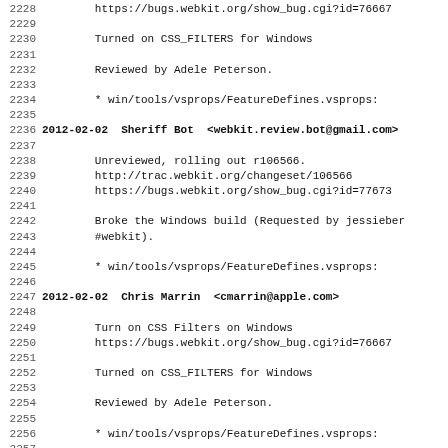2228    https://bugs.webkit.org/show_bug.cgi?id=76667
2229
2230        Turned on CSS_FILTERS for Windows
2231
2232        Reviewed by Adele Peterson.
2233
2234        * win/tools/vsprops/FeatureDefines.vsprops:
2235
2236 2012-02-02  Sheriff Bot  <webkit.review.bot@gmail.com>
2237
2238        Unreviewed, rolling out r106566.
2239        http://trac.webkit.org/changeset/106566
2240        https://bugs.webkit.org/show_bug.cgi?id=77673
2241
2242        Broke the Windows build (Requested by jessieber
2243        #webkit).
2244
2245        * win/tools/vsprops/FeatureDefines.vsprops:
2246
2247 2012-02-02  Chris Marrin  <cmarrin@apple.com>
2248
2249        Turn on CSS Filters on Windows
2250        https://bugs.webkit.org/show_bug.cgi?id=76667
2251
2252        Turned on CSS_FILTERS for Windows
2253
2254        Reviewed by Adele Peterson.
2255
2256        * win/tools/vsprops/FeatureDefines.vsprops:
2257
2258 2012-01-26  Nikolas Zimmermann  <nzimmermann@rim.com>
2259